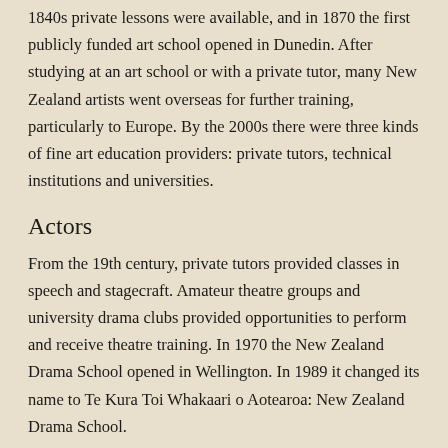1840s private lessons were available, and in 1870 the first publicly funded art school opened in Dunedin. After studying at an art school or with a private tutor, many New Zealand artists went overseas for further training, particularly to Europe. By the 2000s there were three kinds of fine art education providers: private tutors, technical institutions and universities.
Actors
From the 19th century, private tutors provided classes in speech and stagecraft. Amateur theatre groups and university drama clubs provided opportunities to perform and receive theatre training. In 1970 the New Zealand Drama School opened in Wellington. In 1989 it changed its name to Te Kura Toi Whakaari o Aotearoa: New Zealand Drama School.
Dancers